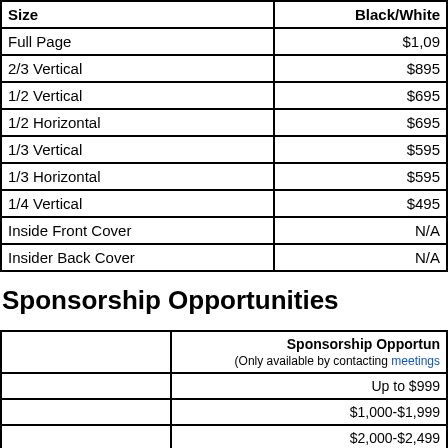| Size | Black/White |
| --- | --- |
| Full Page | $1,09 |
| 2/3 Vertical | $895 |
| 1/2 Vertical | $695 |
| 1/2 Horizontal | $695 |
| 1/3 Vertical | $595 |
| 1/3 Horizontal | $595 |
| 1/4 Vertical | $495 |
| Inside Front Cover | N/A |
| Insider Back Cover | N/A |
Sponsorship Opportunities
|  | Sponsorship Opportun... |
| --- | --- |
|  | (Only available by contacting meetings...) |
|  | Up to $999 |
|  | $1,000-$1,999 |
|  | $2,000-$2,499 |
|  | $2,500-$4,999 |